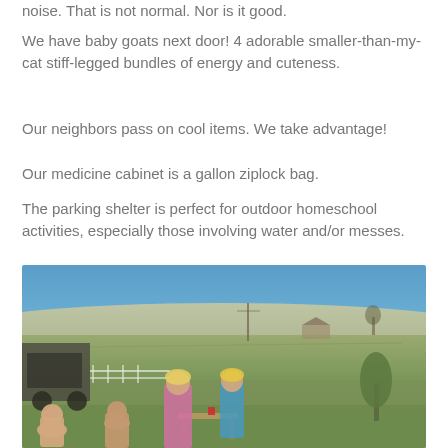noise. That is not normal. Nor is it good.
We have baby goats next door! 4 adorable smaller-than-my-cat stiff-legged bundles of energy and cuteness.
Our neighbors pass on cool items. We take advantage!
Our medicine cabinet is a gallon ziplock bag.
The parking shelter is perfect for outdoor homeschool activities, especially those involving water and/or messes.
[Figure (photo): Children playing outdoors near a wooden table/bench under a blue sky with a rural landscape and rolling hills in the background. Farm equipment and a vehicle visible on the left, a small evergreen tree on the right.]